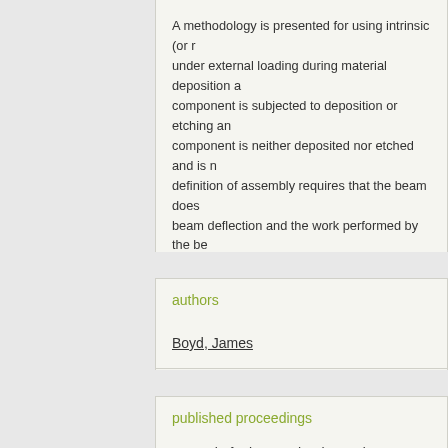A methodology is presented for using intrinsic (or r... under external loading during material deposition a... component is subjected to deposition or etching an... component is neither deposited nor etched and is n... definition of assembly requires that the beam does... beam deflection and the work performed by the be... beam deflection and the work can be nonmonotoni... deposition analysis is experimentally verified by ele... a second AFM beam (serving as the spring) that d...
authors
Boyd, James
published proceedings
Journal of Micromechanics and Microengineering